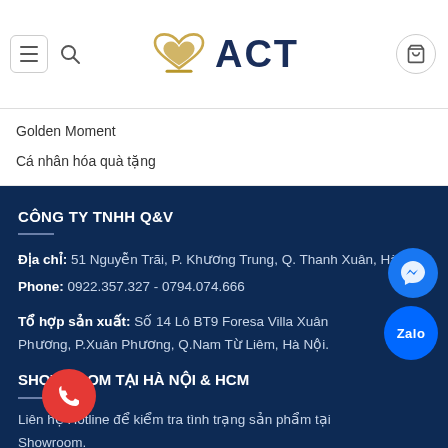[Figure (logo): ACT brand logo with golden infinity/heart symbol and dark blue ACT text]
Golden Moment
Cá nhân hóa quà tặng
CÔNG TY TNHH Q&V
Địa chỉ: 51 Nguyễn Trãi, P. Khương Trung, Q. Thanh Xuân, Hà Nội.
Phone: 0922.357.327 - 0794.074.666
Tổ hợp sản xuất: Số 14 Lô BT9 Foresa Villa Xuân Phương, P.Xuân Phương, Q.Nam Từ Liêm, Hà Nội.
SHOWROOM TẠI HÀ NỘI & HCM
Liên hệ Hotline để kiểm tra tình trạng sản phẩm tại Showroom.